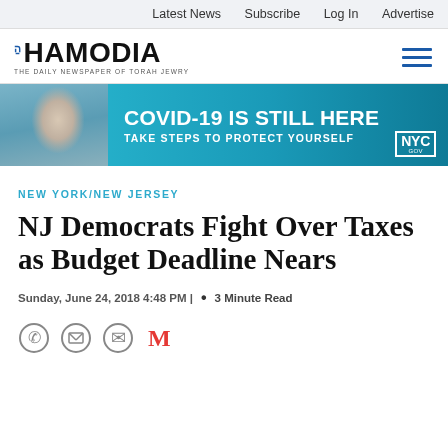Latest News   Subscribe   Log In   Advertise
[Figure (logo): Hamodia newspaper logo with tagline 'The Daily Newspaper of Torah Jewry']
[Figure (infographic): COVID-19 IS STILL HERE - TAKE STEPS TO PROTECT YOURSELF - NYC banner advertisement with masked person on phone]
NEW YORK/NEW JERSEY
NJ Democrats Fight Over Taxes as Budget Deadline Nears
Sunday, June 24, 2018 4:48 PM |   •   3 Minute Read
[Figure (other): Social sharing icons: WhatsApp, Print, Email, Gmail]